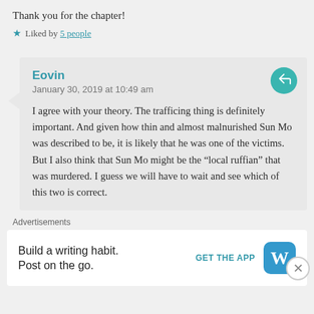Thank you for the chapter!
Liked by 5 people
Eovin
January 30, 2019 at 10:49 am
I agree with your theory. The trafficing thing is definitely important. And given how thin and almost malnurished Sun Mo was described to be, it is likely that he was one of the victims. But I also think that Sun Mo might be the “local ruffian” that was murdered. I guess we will have to wait and see which of this two is correct.
Advertisements
Build a writing habit.
Post on the go.
GET THE APP